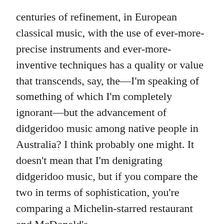centuries of refinement, in European classical music, with the use of ever-more-precise instruments and ever-more-inventive techniques has a quality or value that transcends, say, the—I'm speaking of something of which I'm completely ignorant—but the advancement of didgeridoo music among native people in Australia? I think probably one might. It doesn't mean that I'm denigrating didgeridoo music, but if you compare the two in terms of sophistication, you're comparing a Michelin-starred restaurant and McDonald's.
What interests me in music is how we go from here to there. Hopefully it gets better. It may be that hip hop is developing in quantum leaps and you're going to persuade me that from its rather rough street beginnings to where it is in the middle of 2018, it